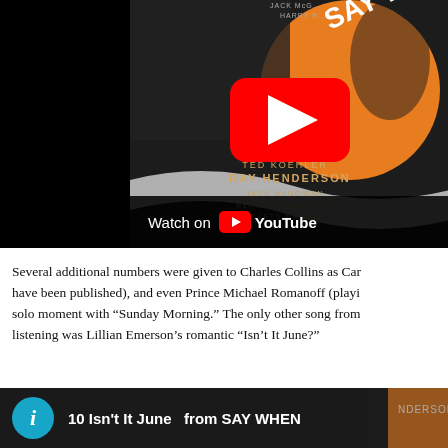[Figure (screenshot): YouTube video thumbnail showing sheet music cover art for 'Say When' with orange violin graphic and text 'TED KOEHLER, RAY HENDERSON, JACK McGOWAN, BERTRAM HARRISON, BULLETS MARKERT'. A red YouTube play button overlay is visible in the center. A 'Watch on YouTube' bar appears at the bottom of the video.]
Several additional numbers were given to Charles Collins as Car... have been published), and even Prince Michael Romanoff (playi... solo moment with “Sunday Morning.” The only other song from... listening was Lillian Emerson’s romantic “Isn’t It June?”
[Figure (screenshot): Bottom portion of a YouTube video player showing title '10 Isn't It June from SAY WHEN' with a teal/blue info circle icon on the left and partial sheet music cover art visible on the right.]